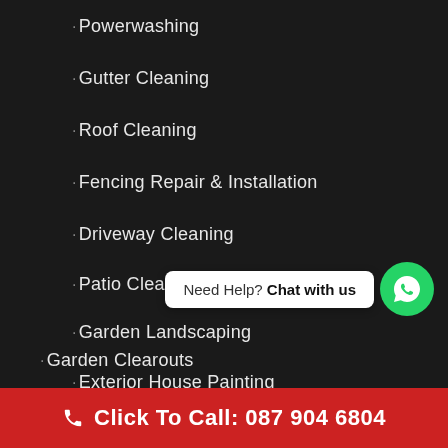Powerwashing
Gutter Cleaning
Roof Cleaning
Fencing Repair & Installation
Driveway Cleaning
Patio Cleaning
Garden Landscaping
Exterior House Painting
Garden Clearouts
[Figure (infographic): WhatsApp chat widget with 'Need Help? Chat with us' bubble and green WhatsApp circle icon]
Click To Call: 087 904 6804